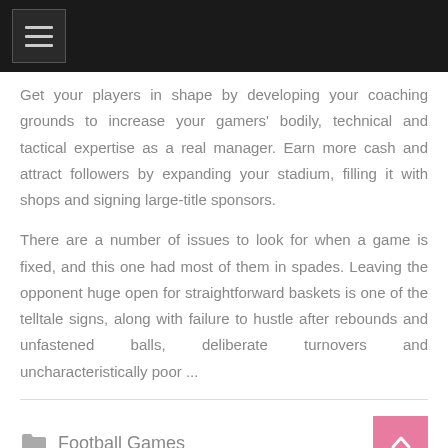Get your players in shape by developing your coaching grounds to increase your gamers' bodily, technical and tactical expertise as a real manager. Earn more cash and attract followers by expanding your stadium, filling it with shops and signing large-title sponsors.
There are a number of issues to look for when a game is fixed, and this one had most of them in spades. Leaving the opponent huge open for straightforward baskets is one of the telltale signs, along with failure to hustle after rebounds and unfastened balls, deliberate turnovers and uncharacteristically poor ...
Football Games
download, football, nowno, online